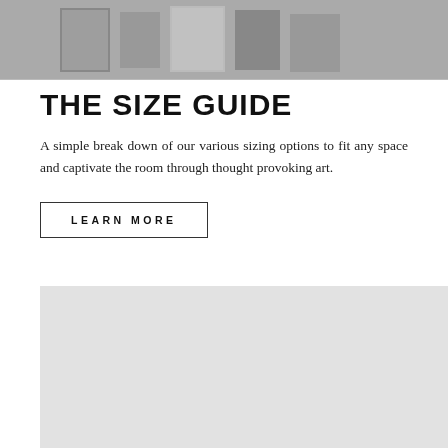[Figure (photo): Black and white photo of art gallery with framed artworks on wall]
THE SIZE GUIDE
A simple break down of our various sizing options to fit any space and captivate the room through thought provoking art.
LEARN MORE
[Figure (photo): Light gray placeholder image area]